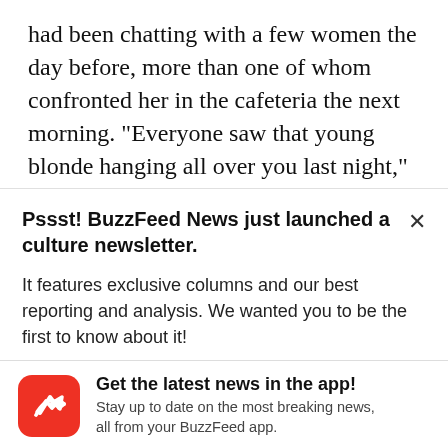had been chatting with a few women the day before, more than one of whom confronted her in the cafeteria the next morning. “Everyone saw that young blonde hanging all over you last night,” she told her scornfully. “You better be careful.” Another
Pssst! BuzzFeed News just launched a culture newsletter.
It features exclusive columns and our best reporting and analysis. We wanted you to be the first to know about it!
[Figure (logo): BuzzFeed app icon: red rounded square with white trending arrow logo]
Get the latest news in the app! Stay up to date on the most breaking news, all from your BuzzFeed app.
Maybe later
Get the app